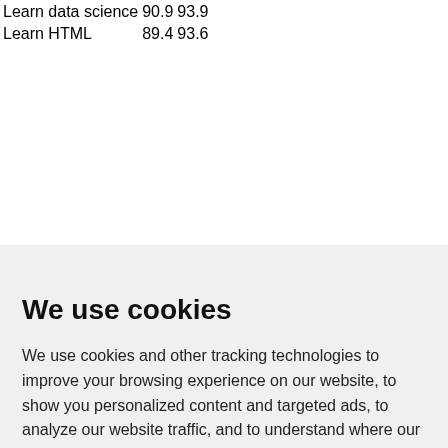| Learn data science | 90.9 | 93.9 |
| Learn HTML | 89.4 | 93.6 |
We use cookies
We use cookies and other tracking technologies to improve your browsing experience on our website, to show you personalized content and targeted ads, to analyze our website traffic, and to understand where our visitors are coming from.